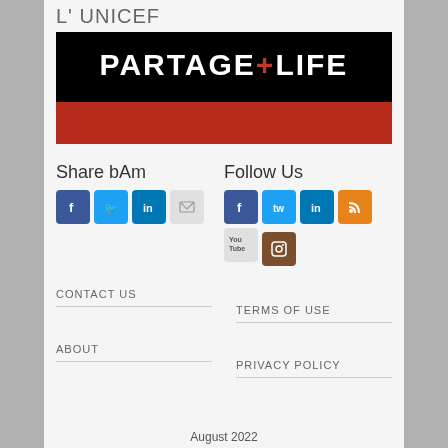L'UNICEF
[Figure (logo): Partage+Life logo banner: white text 'PARTAGE+LIFE' on black background with red stripe at bottom]
Share bAm
[Figure (infographic): Share social icons: Facebook, Twitter, LinkedIn, Email]
Follow Us
[Figure (infographic): Follow social icons: Facebook, Twitter, LinkedIn, RSS, YouTube, Instagram]
CONTACT US
TERMS OF USE
ABOUT
PRIVACY POLICY
August 2022